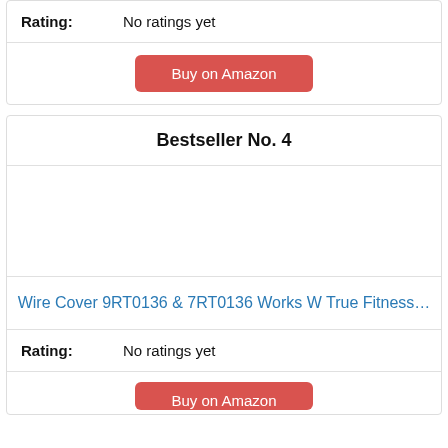Rating: No ratings yet
Buy on Amazon
Bestseller No. 4
[Figure (photo): Product image area (blank/white)]
Wire Cover 9RT0136 & 7RT0136 Works W True Fitness…
Rating: No ratings yet
Buy on Amazon (partially visible)